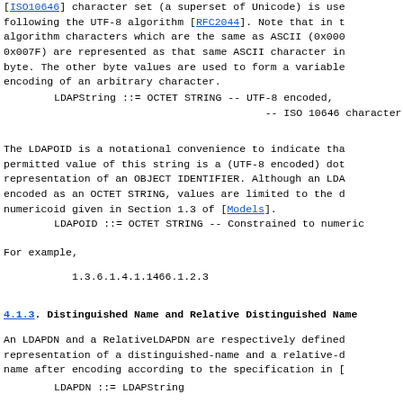[ISO10646] character set (a superset of Unicode) is used following the UTF-8 algorithm [RFC2044]. Note that in the algorithm characters which are the same as ASCII (0x0000-0x007F) are represented as that same ASCII character in a single byte. The other byte values are used to form a variable length encoding of an arbitrary character.
The LDAPOID is a notational convenience to indicate that the permitted value of this string is a (UTF-8 encoded) dotted-decimal representation of an OBJECT IDENTIFIER. Although an LDAPOID is encoded as an OCTET STRING, values are limited to the dotted-decimal numericoid given in Section 1.3 of [Models].
For example,
4.1.3. Distinguished Name and Relative Distinguished Name
An LDAPDN and a RelativeLDAPDN are respectively defined as the representation of a distinguished-name and a relative-distinguished-name after encoding according to the specification in [...]